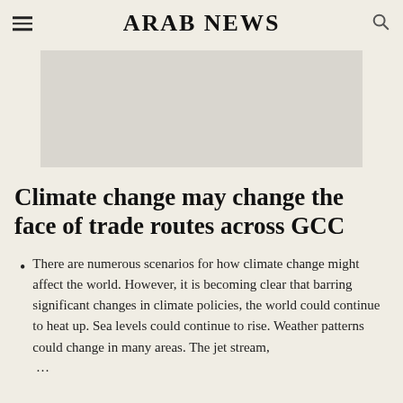ARAB NEWS
[Figure (other): Gray advertisement placeholder banner]
Climate change may change the face of trade routes across GCC
There are numerous scenarios for how climate change might affect the world. However, it is becoming clear that barring significant changes in climate policies, the world could continue to heat up. Sea levels could continue to rise. Weather patterns could change in many areas. The jet stream, …